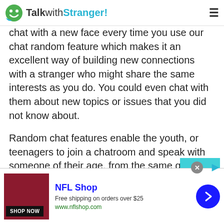TalkwithStranger!
chat with a new face every time you use our chat random feature which makes it an excellent way of building new connections with a stranger who might share the same interests as you do. You could even chat with them about new topics or issues that you did not know about.
Random chat features enable the youth, or teenagers to join a chatroom and speak with someone of their age, from the same gender or even from opposite genders. Since our site has more than 12000 users daily, you can chat with a diverse range of people.
[Figure (screenshot): NFL Shop advertisement banner with red shirt image, Shop Now button, NFL Shop title, Free shipping on orders over $25, www.nflshop.com, and blue navigation arrow]